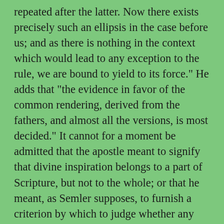repeated after the latter. Now there exists precisely such an ellipsis in the case before us; and as there is nothing in the context which would lead to any exception to the rule, we are bound to yield to its force." He adds that "the evidence in favor of the common rendering, derived from the fathers, and almost all the versions, is most decided." It cannot for a moment be admitted that the apostle meant to signify that divine inspiration belongs to a part of Scripture, but not to the whole; or that he meant, as Semler supposes, to furnish a criterion by which to judge whether any work is inspired or not, namely, its utility. "That author proceeds fearlessly to apply this criterion to the books of the Old Testament, and to lop off eight of them as not possessing the requisite marks of legitimacy. Many of the German divines adopt Semler's hypothesis." But it is very manifest that such a sense is not by any means suggested by the passage itself, and that it is